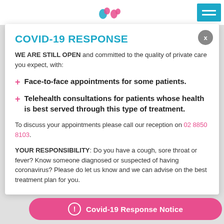Logo header with navigation menu button
COVID-19 RESPONSE
WE ARE STILL OPEN and committed to the quality of private care you expect, with:
Face-to-face appointments for some patients.
Telehealth consultations for patients whose health is best served through this type of treatment.
To discuss your appointments please call our reception on 02 8850 8103.
YOUR RESPONSIBILITY: Do you have a cough, sore throat or fever? Know someone diagnosed or suspected of having coronavirus? Please do let us know and we can advise on the best treatment plan for you.
Covid-19 Response Notice